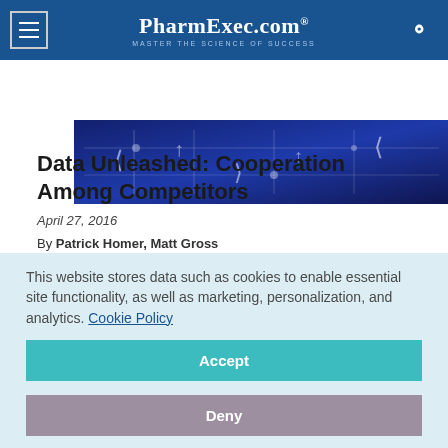PharmExec.com — MASTER THE SCIENCE OF SUCCESS
[Figure (photo): Hero image with dark blue circuit-board or technology themed background with white graphic elements]
Data Unleashed: Cooperation Among Competitors
April 27, 2016
By Patrick Homer, Matt Gross
Features
Volume 36, Issue 4
This website stores data such as cookies to enable essential site functionality, as well as marketing, personalization, and analytics. Cookie Policy
Accept
Deny